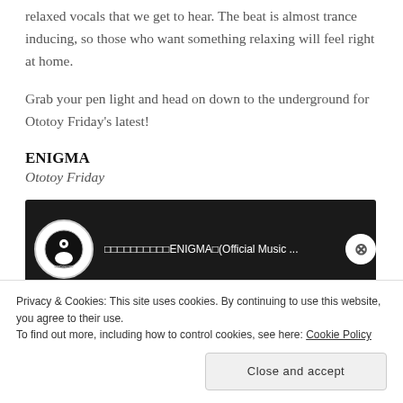relaxed vocals that we get to hear. The beat is almost trance inducing, so those who want something relaxing will feel right at home.
Grab your pen light and head on down to the underground for Ototoy Friday's latest!
ENIGMA
Ototoy Friday
[Figure (screenshot): YouTube video thumbnail showing ENIGMA Official Music Video with channel logo and menu dots]
Privacy & Cookies: This site uses cookies. By continuing to use this website, you agree to their use.
To find out more, including how to control cookies, see here: Cookie Policy
Close and accept